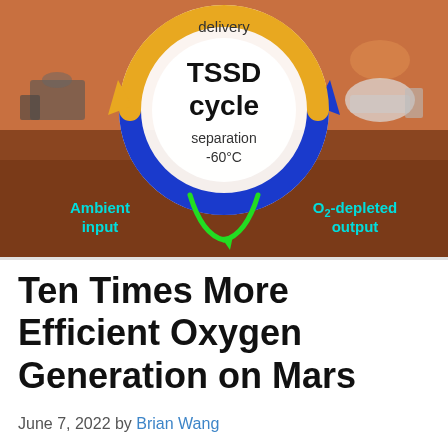[Figure (infographic): Diagram showing the TSSD (Temperature Swing Sorption Desorption) cycle for oxygen generation on Mars. A circular arrow diagram with a yellow arrow on top (labeled 'delivery') and a blue arrow on the bottom. Inside the circle is text: 'TSSD cycle' (large bold) and 'separation -60°C'. Below the circle on a Mars landscape background: 'Ambient input' on the left in cyan and 'O2-depleted output' on the right in cyan, with green curved arrows in the center pointing downward.]
Ten Times More Efficient Oxygen Generation on Mars
June 7, 2022 by Brian Wang